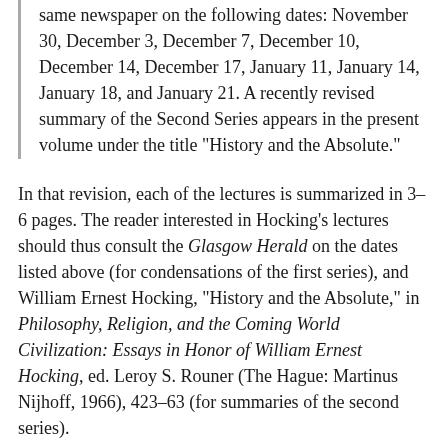same newspaper on the following dates: November 30, December 3, December 7, December 10, December 14, December 17, January 11, January 14, January 18, and January 21. A recently revised summary of the Second Series appears in the present volume under the title "History and the Absolute."
In that revision, each of the lectures is summarized in 3–6 pages. The reader interested in Hocking's lectures should thus consult the Glasgow Herald on the dates listed above (for condensations of the first series), and William Ernest Hocking, "History and the Absolute," in Philosophy, Religion, and the Coming World Civilization: Essays in Honor of William Ernest Hocking, ed. Leroy S. Rouner (The Hague: Martinus Nijhoff, 1966), 423–63 (for summaries of the second series).